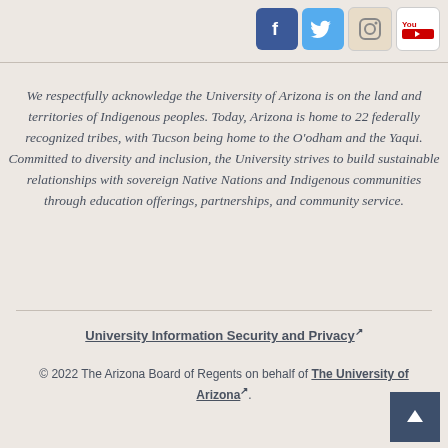[Figure (other): Social media icons: Facebook, Twitter, Instagram, YouTube]
We respectfully acknowledge the University of Arizona is on the land and territories of Indigenous peoples. Today, Arizona is home to 22 federally recognized tribes, with Tucson being home to the O'odham and the Yaqui. Committed to diversity and inclusion, the University strives to build sustainable relationships with sovereign Native Nations and Indigenous communities through education offerings, partnerships, and community service.
University Information Security and Privacy ↗
© 2022 The Arizona Board of Regents on behalf of The University of Arizona ↗.